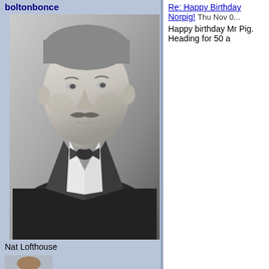boltonbonce
[Figure (photo): Black and white portrait photo of a man in a suit with a bow tie, resembling Nat Lofthouse]
Nat Lofthouse
[Figure (photo): Small avatar photo of a young man]
Posts : 28648
Join date : 2013-10-05
Re: Happy Birthday Norpig! Thu Nov 0...
Happy birthday Mr Pig. Heading for 50 a